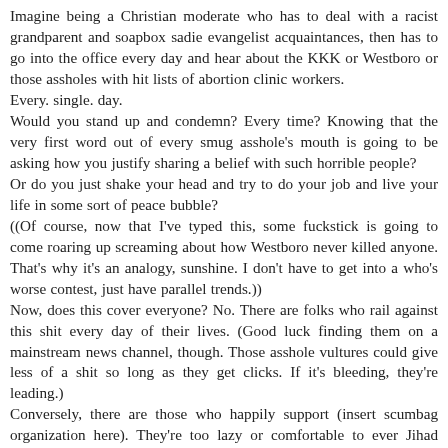Imagine being a Christian moderate who has to deal with a racist grandparent and soapbox sadie evangelist acquaintances, then has to go into the office every day and hear about the KKK or Westboro or those assholes with hit lists of abortion clinic workers.
Every. single. day.
Would you stand up and condemn? Every time? Knowing that the very first word out of every smug asshole's mouth is going to be asking how you justify sharing a belief with such horrible people?
Or do you just shake your head and try to do your job and live your life in some sort of peace bubble?
((Of course, now that I've typed this, some fuckstick is going to come roaring up screaming about how Westboro never killed anyone. That's why it's an analogy, sunshine. I don't have to get into a who's worse contest, just have parallel trends.))
Now, does this cover everyone? No. There are folks who rail against this shit every day of their lives. (Good luck finding them on a mainstream news channel, though. Those asshole vultures could give less of a shit so long as they get clicks. If it's bleeding, they're leading.)
Conversely, there are those who happily support (insert scumbag organization here). They're too lazy or comfortable to ever Jihad themselves, but they'll gladly talk smack all day, then run and cry